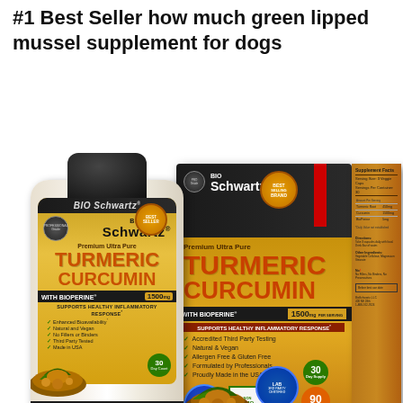#1 Best Seller how much green lipped mussel supplement for dogs
[Figure (photo): Product photo showing BioSchwartz Premium Ultra Pure Turmeric Curcumin with BioPerine 1500mg supplement bottle and box. The bottle is on the left and the retail box is on the right. Both feature gold/yellow and dark labeling with orange text for TURMERIC CURCUMIN branding. The bottle shows 90 Veggie Caps, 30 Day Supply. Features include Enhanced Bioavailability, Natural and Vegan, No Fillers or Binders, Third Party Tested, Made in USA. Box shows Accredited Third Party Testing, Natural & Vegan, Allergen Free & Gluten Free, Formulated by Professionals, Proudly Made in the USA.]